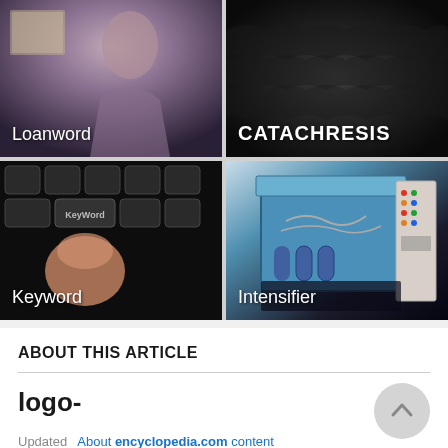[Figure (photo): Grid of four image cards: Loanword (woman portrait), CATACHRESIS (dark textured), Keyword (keyboard closeup with finger pressing KeyWord key), Intensifier (blue industrial machine)]
ABOUT THIS ARTICLE
logo-
Updated  About encyclopedia.com content